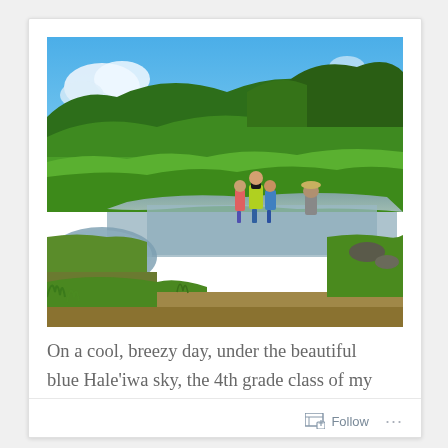[Figure (photo): Outdoor scene showing a wetland or taro field with muddy water and lush green vegetation under a blue sky with white clouds. Several people including children are visible standing in the water, one wearing a bright yellow-green shirt.]
On a cool, breezy day, under the beautiful blue Hale'iwa sky, the 4th grade class of my son's elementary school presented an 'oli (chant) to
Follow ...